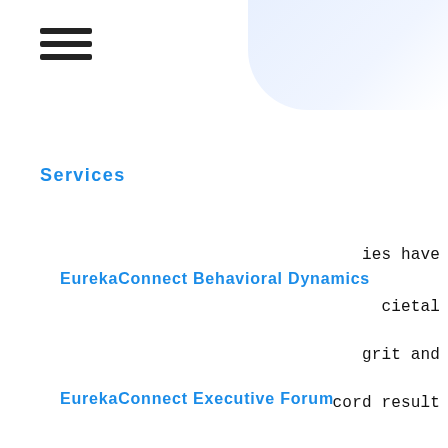[Figure (other): Hamburger menu icon with three horizontal bars]
Services
EurekaConnect Behavioral Dynamics
ies have cietal grit and cord result
EurekaConnect Executive Forum
Resources
that ultural, that have er harder at ce–we will ore tter
The EurekaMoment
The Blog
Customers
Upcoming Events